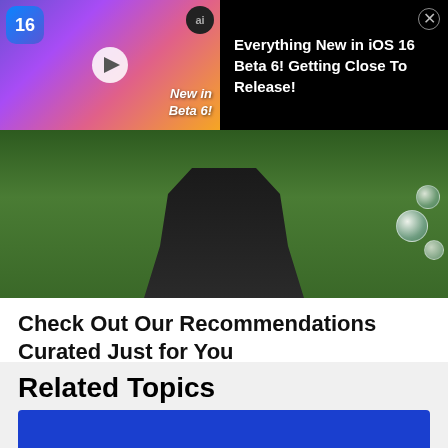[Figure (screenshot): Ad banner for iOS 16 Beta 6 video with thumbnail showing iPhone and 'New in Beta 6!' text, AI badge, and close button on black background with title 'Everything New in iOS 16 Beta 6! Getting Close To Release!']
[Figure (photo): Hero photo of person standing outdoors in green field/garden background with soap bubbles visible on the right side]
Check Out Our Recommendations Curated Just for You
Best Next Read
Related Topics
[Figure (photo): Blue background image with a smartphone partially visible at the bottom of the section]